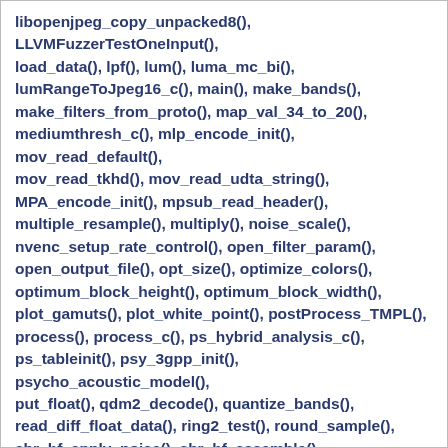libopenjpeg_copy_unpacked8(), LLVMFuzzerTestOneInput(), load_data(), lpf(), lum(), luma_mc_bi(), lumRangeToJpeg16_c(), main(), make_bands(), make_filters_from_proto(), map_val_34_to_20(), mediumthresh_c(), mlp_encode_init(), mov_read_default(), mov_read_tkhd(), mov_read_udta_string(), MPA_encode_init(), mpsub_read_header(), multiple_resample(), multiply(), noise_scale(), nvenc_setup_rate_control(), open_filter_param(), open_output_file(), opt_size(), optimize_colors(), optimum_block_height(), optimum_block_width(), plot_gamuts(), plot_white_point(), postProcess_TMPL(), process(), process_c(), ps_hybrid_analysis_c(), ps_tableinit(), psy_3gpp_init(), psycho_acoustic_model(), put_float(), qdm2_decode(), quantize_bands(), read_diff_float_data(), ring2_test(), round_sample(), sbr_hf_apply_noise(), sbr_hf_assemble(), sbr_hf_g_filt_c(), sbr_hf_gen_c(), sbr_hf_inverse_filter(), sbr_make_f_derived(), sbr_make_f_master(), sbr_qmf_deint_bfly_c(), scc_write_packet(), segment_end(), set_noise_profile(), set_volume(), spi_do_encode(),